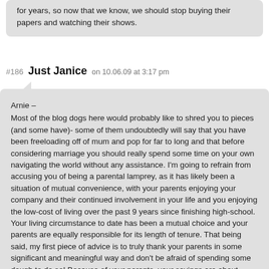for years, so now that we know, we should stop buying their papers and watching their shows.
#186  Just Janice  on 10.06.09 at 3:17 pm
Arnie –
Most of the blog dogs here would probably like to shred you to pieces (and some have)- some of them undoubtedly will say that you have been freeloading off of mum and pop for far to long and that before considering marriage you should really spend some time on your own navigating the world without any assistance. I'm going to refrain from accusing you of being a parental lamprey, as it has likely been a situation of mutual convenience, with your parents enjoying your company and their continued involvement in your life and you enjoying the low-cost of living over the past 9 years since finishing high-school. Your living circumstance to date has been a mutual choice and your parents are equally responsible for its length of tenure. That being said, my first piece of advice is to truly thank your parents in some significant and meaningful way and don't be afraid of spending some dough to do so! Because of your parents, your savings are about $202,000 more (not including the earned interest) than they would have been otherwise including the